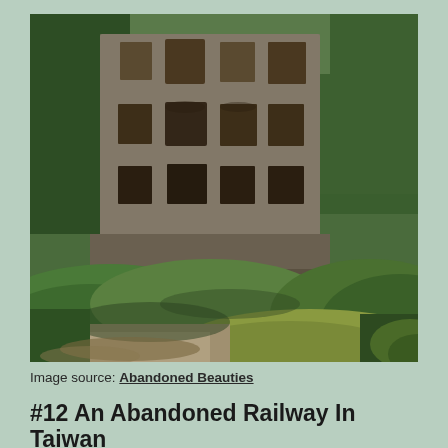[Figure (photo): Photograph of an abandoned multi-story stone mansion or château covered in decay, surrounded by lush green trees and vegetation. The foreground shows green grassy slopes and a pond or marshy area with yellowish-green water.]
Image source: Abandoned Beauties
#12 An Abandoned Railway In Taiwan